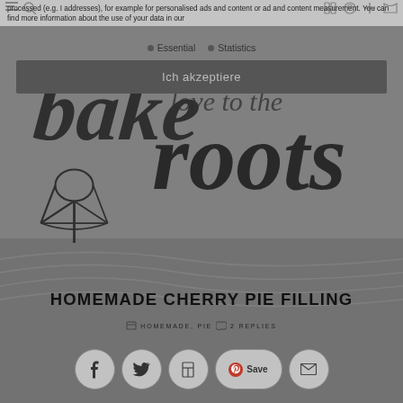processed (e.g. I addresses), for example for personalised ads and content or ad and content measurement. You can find more information about the use of your data in our
Essential
Statistics
Ich akzeptiere
[Figure (logo): bake to the roots logo with whisk illustration and handwritten text]
HOMEMADE CHERRY PIE FILLING
HOMEMADE, PIE  2 REPLIES
[Figure (infographic): Social sharing buttons: Facebook, Twitter, Flipboard, Pinterest Save, Email]